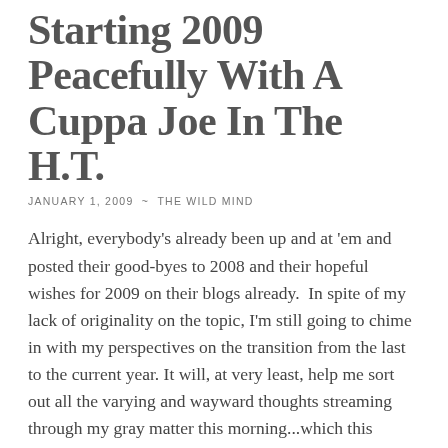Starting 2009 Peacefully With A Cuppa Joe In The H.T.
JANUARY 1, 2009  ~  THE WILD MIND
Alright, everybody's already been up and at 'em and posted their good-byes to 2008 and their hopeful wishes for 2009 on their blogs already.  In spite of my lack of originality on the topic, I'm still going to chime in with my perspectives on the transition from the last to the current year. It will, at very least, help me sort out all the varying and wayward thoughts streaming through my gray matter this morning...which this morning especially...feels particularly gray, like it is socked in under a deep cloak of tangible fog.